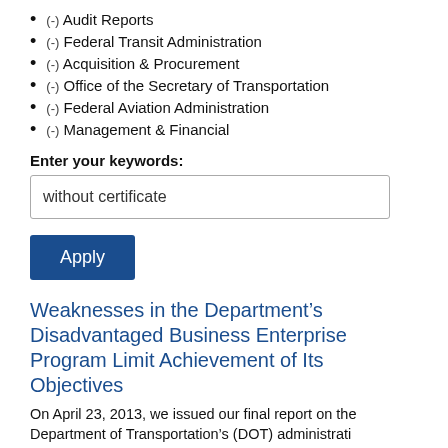(-) Audit Reports
(-) Federal Transit Administration
(-) Acquisition & Procurement
(-) Office of the Secretary of Transportation
(-) Federal Aviation Administration
(-) Management & Financial
Enter your keywords:
without certificate
Apply
Weaknesses in the Department’s Disadvantaged Business Enterprise Program Limit Achievement of Its Objectives
On April 23, 2013, we issued our final report on the Department of Transportation’s (DOT) administration